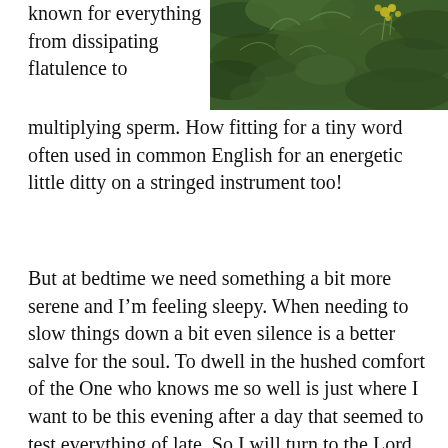known for everything from dissipating flatulence to
[Figure (photo): Close-up photograph of green leafy plant with small yellow flowers, likely a herb or wildflower.]
multiplying sperm.  How fitting for a tiny word often used in common English for an energetic little ditty on a stringed instrument too!
But at bedtime we need something a bit more serene and I'm feeling sleepy.  When needing to slow things down a bit even silence is a better salve for the soul.  To dwell in the hushed comfort of the One who knows me so well is just where I want to be this evening after a day that seemed to test everything of late.  So I will turn to the Lord and His Word in what I have heard called the (bedtime Psalms). Psallit the world before Him...